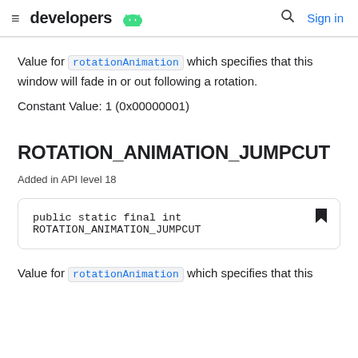≡ developers [android logo] [search] Sign in
Value for rotationAnimation which specifies that this window will fade in or out following a rotation.
Constant Value: 1 (0x00000001)
ROTATION_ANIMATION_JUMPCUT
Added in API level 18
public static final int ROTATION_ANIMATION_JUMPCUT
Value for rotationAnimation which specifies that this